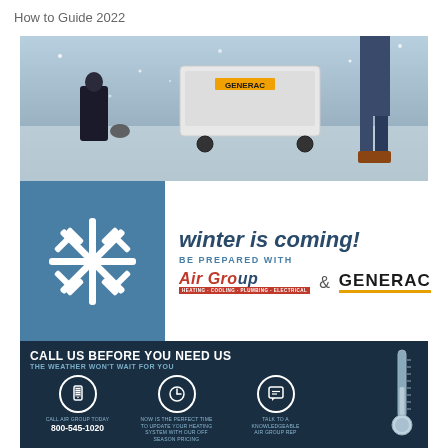How to Guide 2022
[Figure (photo): Workers in winter clothing installing or servicing a Generac generator in snowy conditions]
[Figure (infographic): Winter is coming! Be prepared with Air Group & Generac. Snowflake icon on blue background. Air Group logo (heating, cooling, plumbing, electrical) and Generac logo.]
[Figure (infographic): Dark blue CTA section: CALL US BEFORE YOU NEED US / THE WEATHER WON'T WAIT FOR YOU. Three icon circles: phone (CALL AIR GROUP TODAY / 800-545-1020), clock (NOW IS THE PERFECT TIME TO UPDATE YOUR HEATING SYSTEM WITH OUR OFF SEASON PRICING), speech bubble (TALK TO A KNOWLEDGEABLE AIR GROUP REP). Thermometer graphic on right.]